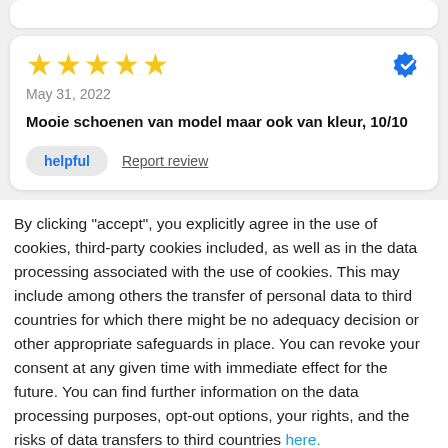[Figure (screenshot): Top portion of a truncated review card, partially visible at the top of the page]
★★★★★
May 31, 2022
Mooie schoenen van model maar ook van kleur, 10/10
helpful   Report review
By clicking "accept", you explicitly agree in the use of cookies, third-party cookies included, as well as in the data processing associated with the use of cookies. This may include among others the transfer of personal data to third countries for which there might be no adequacy decision or other appropriate safeguards in place. You can revoke your consent at any given time with immediate effect for the future. You can find further information on the data processing purposes, opt-out options, your rights, and the risks of data transfers to third countries here.
ACCEPT